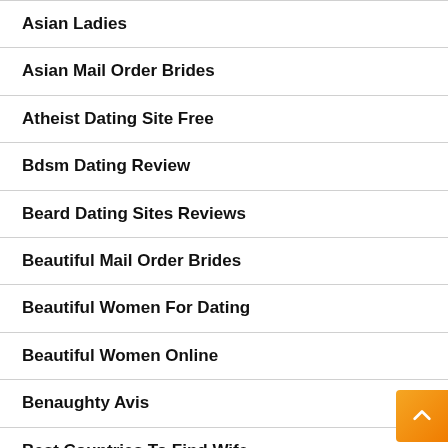Asian Ladies
Asian Mail Order Brides
Atheist Dating Site Free
Bdsm Dating Review
Beard Dating Sites Reviews
Beautiful Mail Order Brides
Beautiful Women For Dating
Beautiful Women Online
Benaughty Avis
Best Countries To Find Wife